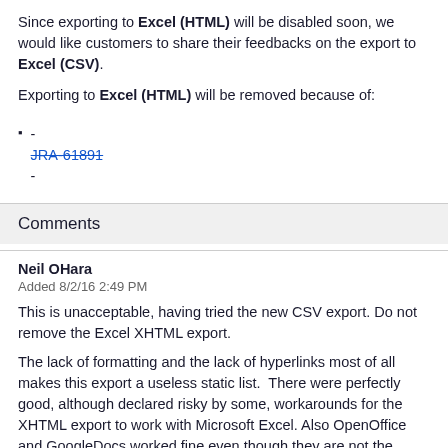Since exporting to Excel (HTML) will be disabled soon, we would like customers to share their feedbacks on the export to Excel (CSV).
Exporting to Excel (HTML) will be removed because of:
- JRA-61891 -
Comments
Neil OHara
Added 8/2/16 2:49 PM
This is unacceptable, having tried the new CSV export. Do not remove the Excel XHTML export.
The lack of formatting and the lack of hyperlinks most of all makes this export a useless static list.  There were perfectly good, although declared risky by some, workarounds for the XHTML export to work with Microsoft Excel. Also OpenOffice and GoogleDocs worked fine even though they are not the dominant players.